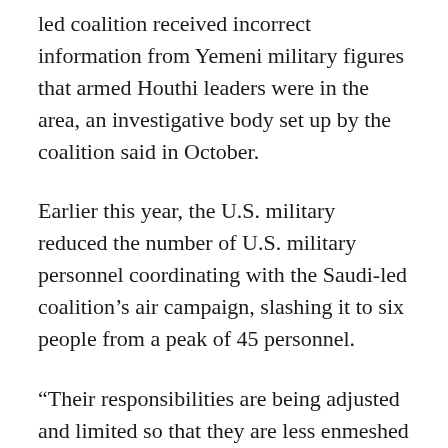led coalition received incorrect information from Yemeni military figures that armed Houthi leaders were in the area, an investigative body set up by the coalition said in October.
Earlier this year, the U.S. military reduced the number of U.S. military personnel coordinating with the Saudi-led coalition’s air campaign, slashing it to six people from a peak of 45 personnel.
“Their responsibilities are being adjusted and limited so that they are less enmeshed in some of the offensive operations in Yemen,” the official said.
Reuters reported earlier on concerns by some U.S. officials that the United States could be implicated in